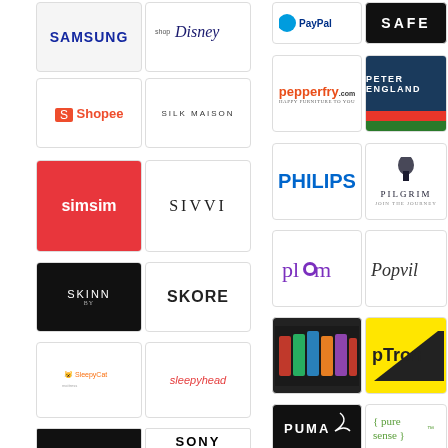[Figure (logo): Samsung logo]
[Figure (logo): shopDisney logo]
[Figure (logo): Shopee logo]
[Figure (logo): Silk Maison logo]
[Figure (logo): simsim logo]
[Figure (logo): SIVVI logo]
[Figure (logo): SKINN logo]
[Figure (logo): SKORE logo]
[Figure (logo): SleepyCat logo]
[Figure (logo): sleepyhead logo]
[Figure (logo): partial logo bottom-left]
[Figure (logo): SONY logo]
[Figure (logo): PayPal partial logo top-right]
[Figure (logo): SAFE logo box top-right]
[Figure (logo): pepperfry.com logo]
[Figure (logo): Peter England logo]
[Figure (logo): PHILIPS logo]
[Figure (logo): PILGRIM logo]
[Figure (logo): plum logo]
[Figure (logo): Popvil logo]
[Figure (logo): ON Whey protein supplement bottles]
[Figure (logo): pTron logo]
[Figure (logo): PUMA logo]
[Figure (logo): pure sense logo]